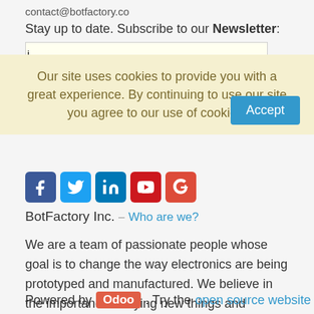contact@botfactory.co
Stay up to date. Subscribe to our Newsletter:
Our site uses cookies to provide you with a great experience. By continuing to use our site you agree to our use of cookies.
[Figure (other): Social media icons: Facebook, Twitter, LinkedIn, YouTube, Google+]
BotFactory Inc. – Who are we?
We are a team of passionate people whose goal is to change the way electronics are being prototyped and manufactured. We believe in the importance of trying new things and iterating as quick as possible to succeed.
Powered by Odoo. Try the open source website